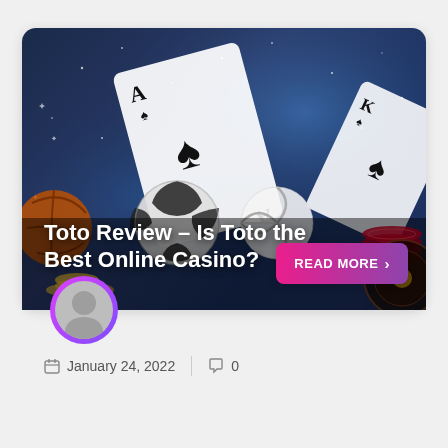[Figure (photo): Casino and sports betting themed image with playing cards, soccer ball, volleyball, basketball, poker chips, and roulette wheel on a dark blue starry background]
Toto Review – Is Toto the Best Online Casino?
READ MORE >
January 24, 2022   0